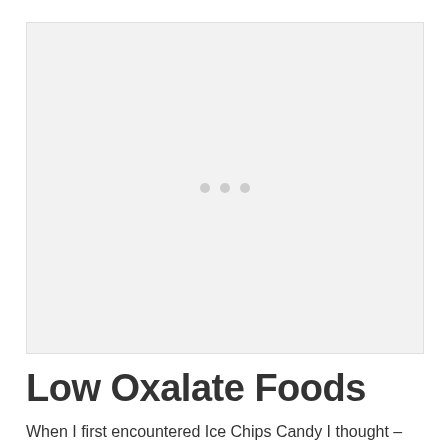[Figure (other): Advertisement placeholder box with three light gray dots in the center indicating a loading or placeholder ad unit]
Low Oxalate Foods
When I first encountered Ice Chips Candy I thought – what a great idea! I reached out to